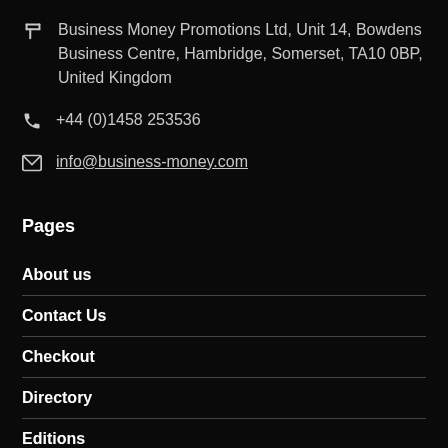Business Money Promotions Ltd, Unit 14, Bowdens Business Centre, Hambridge, Somerset, TA10 0BP, United Kingdom
+44 (0)1458 253536
info@business-money.com
Pages
About us
Contact Us
Checkout
Directory
Editions
Feature articles